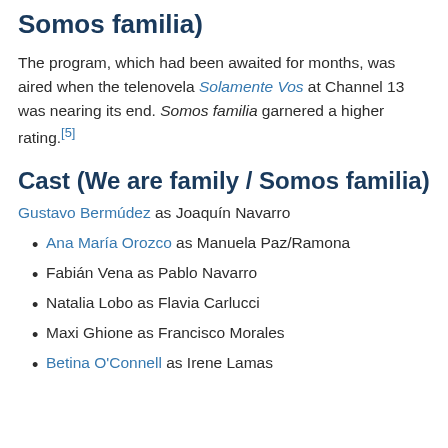Somos familia)
The program, which had been awaited for months, was aired when the telenovela Solamente Vos at Channel 13 was nearing its end. Somos familia garnered a higher rating.[5]
Cast (We are family / Somos familia)
Gustavo Bermúdez as Joaquín Navarro
Ana María Orozco as Manuela Paz/Ramona
Fabián Vena as Pablo Navarro
Natalia Lobo as Flavia Carlucci
Maxi Ghione as Francisco Morales
Betina O'Connell as Irene Lamas